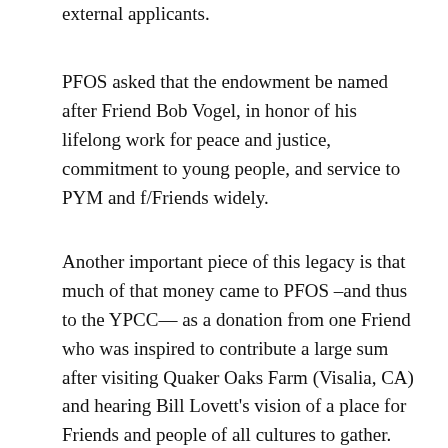external applicants.
PFOS asked that the endowment be named after Friend Bob Vogel, in honor of his lifelong work for peace and justice, commitment to young people, and service to PYM and f/Friends widely.
Another important piece of this legacy is that much of that money came to PFOS –and thus to the YPCC— as a donation from one Friend who was inspired to contribute a large sum after visiting Quaker Oaks Farm (Visalia, CA) and hearing Bill Lovett's vision of a place for Friends and people of all cultures to gather. When PFOS decided to lay itself down and gave